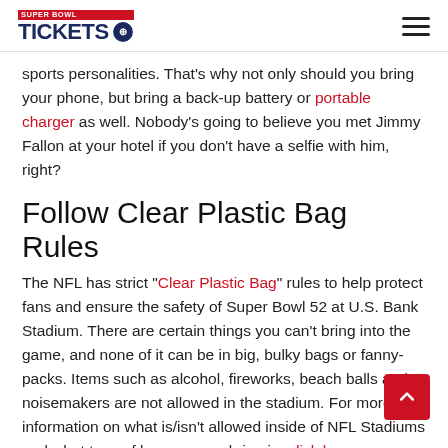SUPER BOWL TICKETS
sports personalities. That's why not only should you bring your phone, but bring a back-up battery or portable charger as well. Nobody's going to believe you met Jimmy Fallon at your hotel if you don't have a selfie with him, right?
Follow Clear Plastic Bag Rules
The NFL has strict "Clear Plastic Bag" rules to help protect fans and ensure the safety of Super Bowl 52 at U.S. Bank Stadium. There are certain things you can't bring into the game, and none of it can be in big, bulky bags or fanny-packs. Items such as alcohol, fireworks, beach balls and noisemakers are not allowed in the stadium. For more information on what is/isn't allowed inside of NFL Stadiums and what type of bag you can bring in, click here.